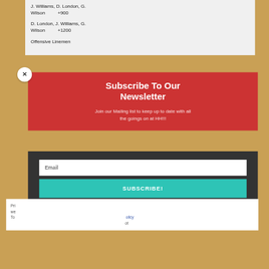J. Williams, D. London, G. Wilson +900
D. London, J. Williams, G. Wilson +1200
Offensive Linemen
Subscribe To Our Newsletter
Join our Mailing list to keep up to date with all the goings on at HH!!!
Priv... we... To... ...olicy ...ot